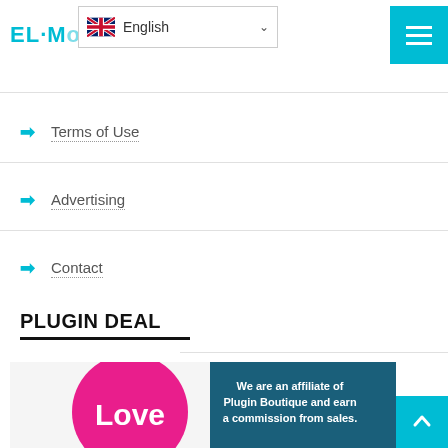EL Motions (site title, partial)
Terms of Use
Advertising
Contact
PLUGIN DEAL
[Figure (illustration): Plugin Boutique affiliate banner with pink circle containing 'Love' text and dark teal background with text: We are an affiliate of Plugin Boutique and earn a commission from sales.]